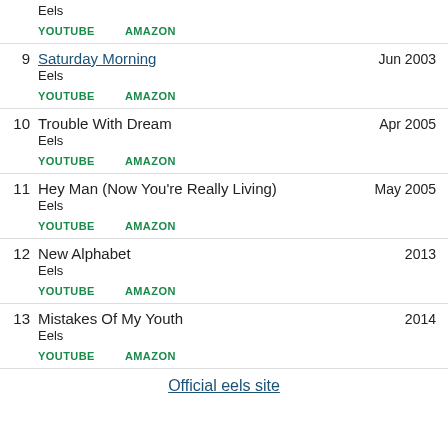Eels — YOUTUBE  AMAZON (partial top item)
9  Saturday Morning  Jun 2003 — Eels — YOUTUBE  AMAZON
10  Trouble With Dream  Apr 2005 — Eels — YOUTUBE  AMAZON
11  Hey Man (Now You're Really Living)  May 2005 — Eels — YOUTUBE  AMAZON
12  New Alphabet  2013 — Eels — YOUTUBE  AMAZON
13  Mistakes Of My Youth  2014 — Eels — YOUTUBE  AMAZON
Official eels site